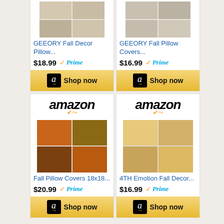[Figure (screenshot): Amazon product card: GEEORY Fall Decor Pillow... $18.99 Prime, Shop now button]
[Figure (screenshot): Amazon product card: GEEORY Fall Pillow Covers... $16.99 Prime, Shop now button]
[Figure (screenshot): Amazon product card: Fall Pillow Covers 18x18... $20.99 Prime, Shop now button]
[Figure (screenshot): Amazon product card: 4TH Emotion Fall Decor... $16.99 Prime, Shop now button]